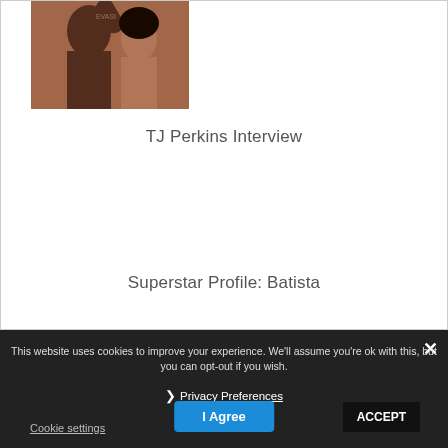[Figure (photo): Photograph of two wrestlers/people, appears to be a wrestling-related image with two individuals]
TJ Perkins Interview
Superstar Profile: Batista
This website uses cookies to improve your experience. We'll assume you're ok with this, but you can opt-out if you wish.
Privacy Preferences
Cookie settings
I Agree
ACCEPT